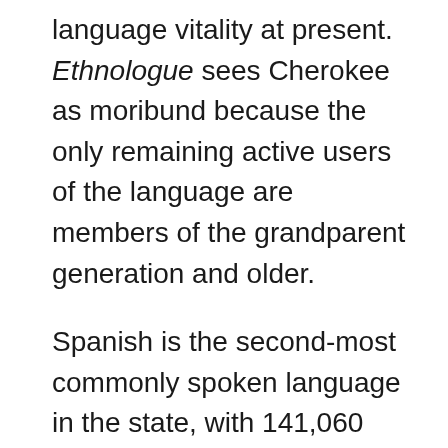language vitality at present. Ethnologue sees Cherokee as moribund because the only remaining active users of the language are members of the grandparent generation and older.
Spanish is the second-most commonly spoken language in the state, with 141,060 speakers counted in 2000. German has 13,444 speakers representing about 0.4% of the state's population, and Vietnamese is spoken by 11,330 people, or about 0.4% of the population, many of whom live in the Asia District of Oklahoma City. Other languages